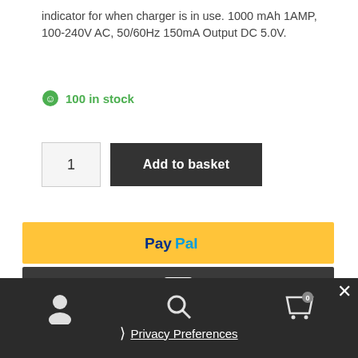indicator for when charger is in use. 1000 mAh 1AMP, 100-240V AC, 50/60Hz 150mA Output DC 5.0V.
100 in stock
[Figure (other): Add to basket button with quantity selector showing 1]
[Figure (other): PayPal payment button with yellow background]
[Figure (other): Card payment button with dark background and card icon]
SKU: WC4NC0A4/GHCP-OM-A-5D0A0H00-BLACK
[Figure (other): Bottom navigation bar with user, search, and cart icons, Privacy Preferences link, and close button]